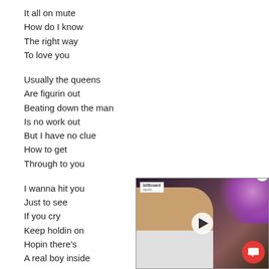It all on mute
How do I know
The right way
To love you

Usually the queens
Are figurin out
Beating down the man
Is no work out
But I have no clue
How to get
Through to you

I wanna hit you
Just to see
If you cry
Keep holdin on
Hopin there's
A real boy inside
[Figure (screenshot): Video overlay showing a person in a white shirt, with Billboard News badge in top left, play button in center, X close button in top right, and red chat/notification button in bottom right. Purple flowers visible in background.]